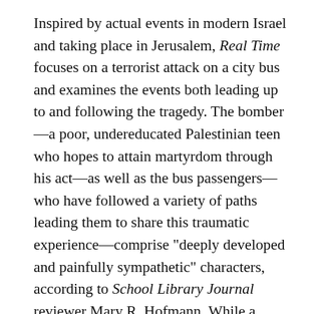Inspired by actual events in modern Israel and taking place in Jerusalem, Real Time focuses on a terrorist attack on a city bus and examines the events both leading up to and following the tragedy. The bomber—a poor, undereducated Palestinian teen who hopes to attain martyrdom through his act—as well as the bus passengers—who have followed a variety of paths leading them to share this traumatic experience—comprise "deeply developed and painfully sympathetic" characters, according to School Library Journal reviewer Mary R. Hofmann. While a Kirkus Reviews writer noted that the "complicated threads of pain,